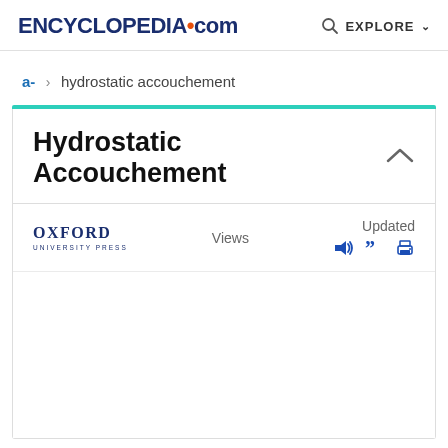ENCYCLopedia.com  EXPLORE
a-  >  hydrostatic accouchement
Hydrostatic Accouchement
[Figure (logo): Oxford University Press logo with text OXFORD UNIVERSITY PRESS]
Views
Updated